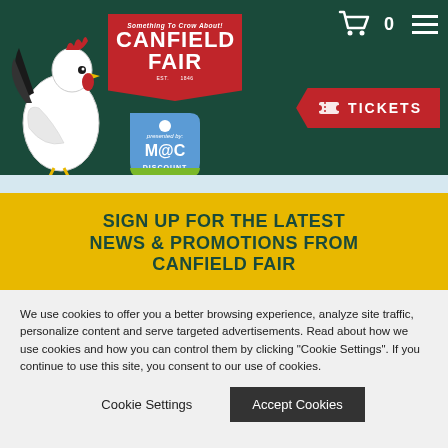[Figure (logo): Canfield Fair logo with rooster illustration, red banner with 'Something To Crow About! CANFIELD FAIR Est. 1846', presented by M@C Discount badge]
[Figure (other): Shopping cart icon with 0 count and hamburger menu icon in white on dark green header]
[Figure (other): Red TICKETS button with ticket stub icon]
SIGN UP FOR THE LATEST NEWS & PROMOTIONS FROM CANFIELD FAIR
EMAIL ADDRESS
We use cookies to offer you a better browsing experience, analyze site traffic, personalize content and serve targeted advertisements. Read about how we use cookies and how you can control them by clicking "Cookie Settings". If you continue to use this site, you consent to our use of cookies.
Cookie Settings
Accept Cookies